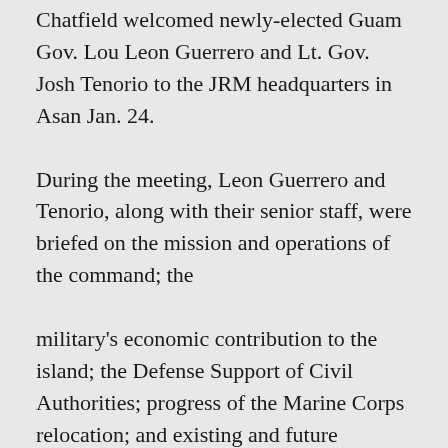Chatfield welcomed newly-elected Guam Gov. Lou Leon Guerrero and Lt. Gov. Josh Tenorio to the JRM headquarters in Asan Jan. 24.
During the meeting, Leon Guerrero and Tenorio, along with their senior staff, were briefed on the mission and operations of the command; the
military's economic contribution to the island; the Defense Support of Civil Authorities; progress of the Marine Corps relocation; and existing and future partnership opportunities with military on island.